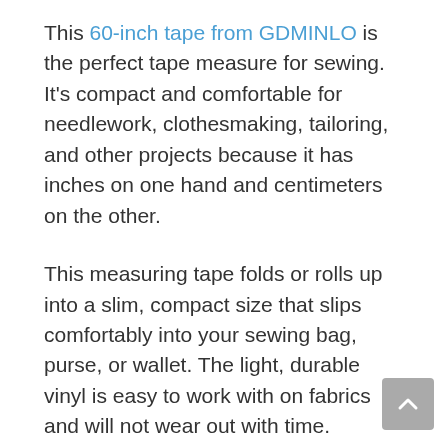This 60-inch tape from GDMINLO is the perfect tape measure for sewing. It's compact and comfortable for needlework, clothesmaking, tailoring, and other projects because it has inches on one hand and centimeters on the other.
This measuring tape folds or rolls up into a slim, compact size that slips comfortably into your sewing bag, purse, or wallet. The light, durable vinyl is easy to work with on fabrics and will not wear out with time.
Komelon The Professional 12-Foot Power Tape